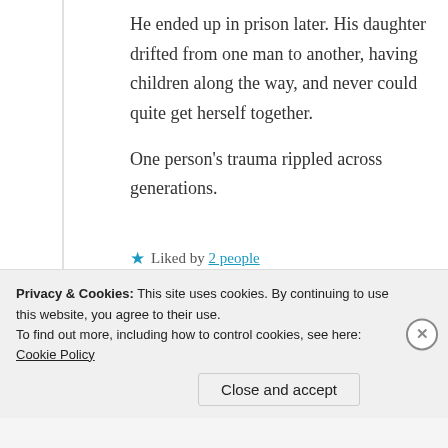He ended up in prison later. His daughter drifted from one man to another, having children along the way, and never could quite get herself together.

One person's trauma rippled across generations.
★ Liked by 2 people
Log in to Reply
Privacy & Cookies: This site uses cookies. By continuing to use this website, you agree to their use.
To find out more, including how to control cookies, see here: Cookie Policy
Close and accept